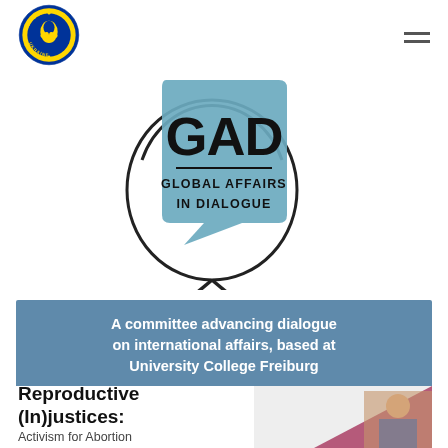[Figure (logo): Ukraine support circular badge logo with blue and yellow bird/flag design, text 'WE SUPPORT UKRAINE' around the border]
[Figure (logo): GAD Global Affairs In Dialogue logo: speech bubble in teal/blue containing text 'GAD' in large bold letters and 'GLOBAL AFFAIRS IN DIALOGUE' below, with a globe outline behind it]
A committee advancing dialogue on international affairs, based at University College Freiburg
Reproductive (In)justices:
Activism for Abortion